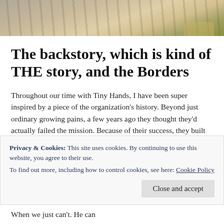[Figure (photo): Aerial or close-up photo of sandy/dirt ground with faint tracks or lines, some green weeds visible, and a partial watermark or text in upper right corner.]
The backstory, which is kind of THE story, and the Borders
Throughout our time with Tiny Hands, I have been super inspired by a piece of the organization's history. Beyond just ordinary growing pains, a few years ago they thought they'd actually failed the mission. Because of their success, they rebuilt…
Privacy & Cookies: This site uses cookies. By continuing to use this website, you agree to their use.
To find out more, including how to control cookies, see here: Cookie Policy
[Close and accept]
When we just can't. He can